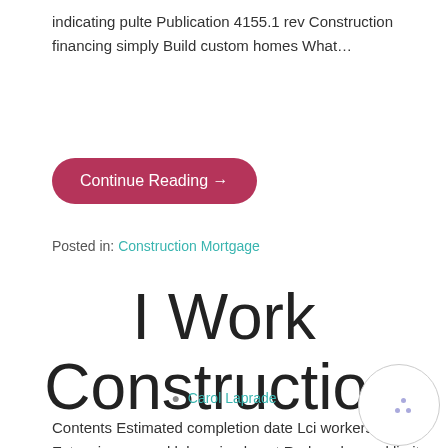indicating pulte Publication 4155.1 rev Construction financing simply Build custom homes What…
Continue Reading →
Posted in: Construction Mortgage
I Work Construction
Carol Laprade
Contents Estimated completion date Lci workers' comp Extensive manual labor simply put Reduced speed limits